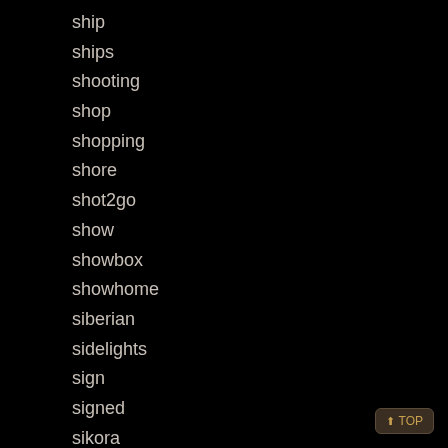ship
ships
shooting
shop
shopping
shore
shot2go
show
showbox
showhome
siberian
sidelights
sign
signed
sikora
silent
silver
silvertone